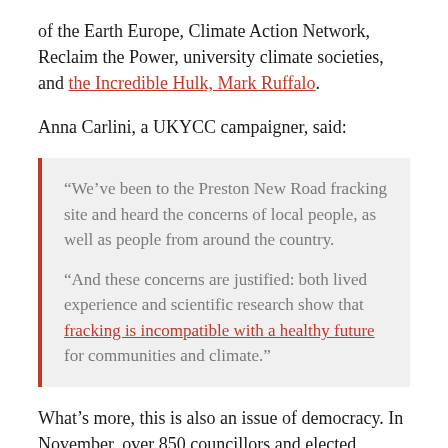of the Earth Europe, Climate Action Network, Reclaim the Power, university climate societies, and the Incredible Hulk, Mark Ruffalo.
Anna Carlini, a UKYCC campaigner, said:
“We’ve been to the Preston New Road fracking site and heard the concerns of local people, as well as people from around the country.

“And these concerns are justified: both lived experience and scientific research show that fracking is incompatible with a healthy future for communities and climate.”
What’s more, this is also an issue of democracy. In November, over 850 councillors and elected representatives, including 71 Conservatives, signed